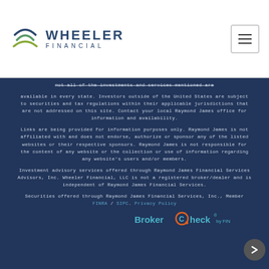[Figure (logo): Wheeler Financial logo with arc/wave symbol and text 'WHEELER FINANCIAL']
not all of the investments and services mentioned are available in every state. Investors outside of the United States are subject to securities and tax regulations within their applicable jurisdictions that are not addressed on this site. Contact your local Raymond James office for information and availability.
Links are being provided for information purposes only. Raymond James is not affiliated with and does not endorse, authorize or sponsor any of the listed websites or their respective sponsors. Raymond James is not responsible for the content of any website or the collection or use of information regarding any website's users and/or members.
Investment advisory services offered through Raymond James Financial Services Advisors, Inc. Wheeler Financial, LLC is not a registered broker/dealer and is independent of Raymond James Financial Services.
Securities offered through Raymond James Financial Services, Inc., Member FINRA / SIPC. Privacy Policy
[Figure (logo): BrokerCheck by FINRA logo in teal/blue]